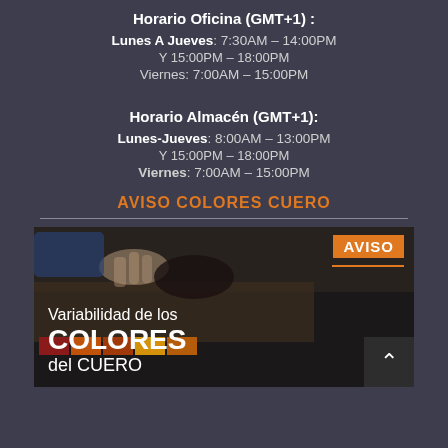Horario Oficina (GMT+1) :
Lunes A Jueves: 7:30AM – 14:00PM
Y 15:00PM – 18:00PM
Viernes: 7:00AM – 15:00PM
Horario Almacén (GMT+1):
Lunes-Jueves: 8:00AM – 13:00PM
Y 15:00PM – 18:00PM
Viernes: 7:00AM – 15:00PM
AVISO COLORES CUERO
[Figure (illustration): Promotional banner showing leather color swatches and hands examining material. Text overlay reads: AVISO | Variabilidad de los COLORES del CUERO]